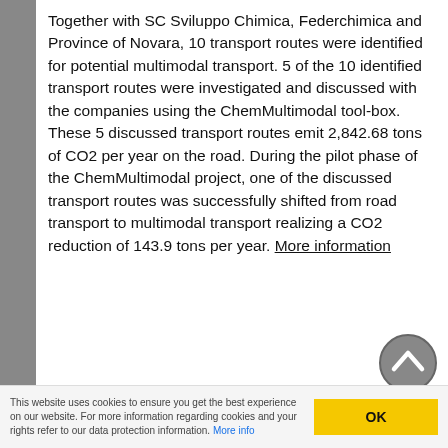Together with SC Sviluppo Chimica, Federchimica and Province of Novara, 10 transport routes were identified for potential multimodal transport. 5 of the 10 identified transport routes were investigated and discussed with the companies using the ChemMultimodal tool-box. These 5 discussed transport routes emit 2,842.68 tons of CO2 per year on the road. During the pilot phase of the ChemMultimodal project, one of the discussed transport routes was successfully shifted from road transport to multimodal transport realizing a CO2 reduction of 143.9 tons per year. More information
[Figure (other): Scroll to top button — circular grey button with an upward chevron arrow]
This website uses cookies to ensure you get the best experience on our website. For more information regarding cookies and your rights refer to our data protection information. More info